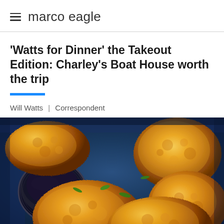marco eagle
'Watts for Dinner' the Takeout Edition: Charley's Boat House worth the trip
Will Watts | Correspondent
[Figure (photo): Close-up photo of fried seafood pieces garnished with greens in a black takeout container with a small dipping sauce cup]